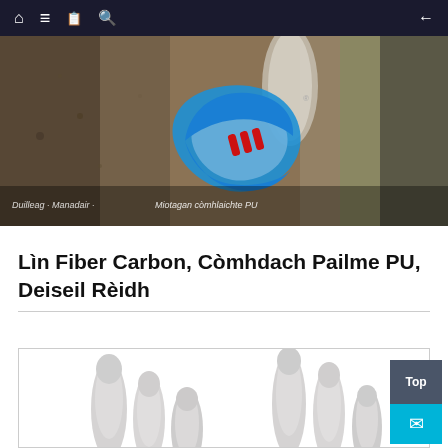Navigation bar with home, menu, book, search icons and back arrow
[Figure (photo): Hero banner photo showing textured brown/beige materials (possibly cork or natural material) with a company logo overlaid — a blue crescent/bird shape with red accent — and italic text overlay reading breadcrumb navigation and 'Miotagan còmhlaichte PU']
Lìn Fiber Carbon, Còmhdach Pailme PU, Deiseil Rèidh
[Figure (photo): Product photo showing white/grey cylindrical finger-shaped objects (glove fingers or similar PU palm coated items) against a white background, partially visible]